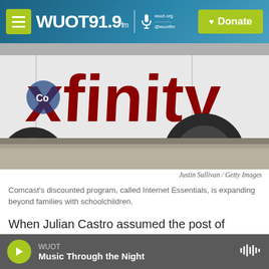WUOT 91.9 FM | Donate
[Figure (photo): Close-up photo of a white Xfinity (Comcast) van with large red 'xfinity' lettering on the side, showing the vehicle's wheel and tire against a sidewalk/street.]
Justin Sullivan / Getty Images
Comcast's discounted program, called Internet Essentials, is expanding beyond families with schoolchildren.
When Julian Castro assumed the post of Housing and Urban Development secretary in 2014, the U.S. government already had a few programs aimed at
WUOT — Music Through the Night